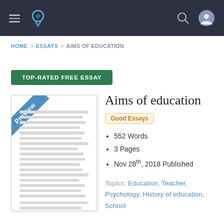Navigation bar with logo and hamburger menu
HOME > ESSAYS > AIMS OF EDUCATION
TOP-RATED FREE ESSAY
[Figure (illustration): Preview thumbnail of essay document with blue diagonal 'Preview' ribbon banner]
Aims of education
Good Essays
552 Words
3 Pages
Nov 28th, 2018 Published
Topics: Education, Teacher, Psychology, History of education, School